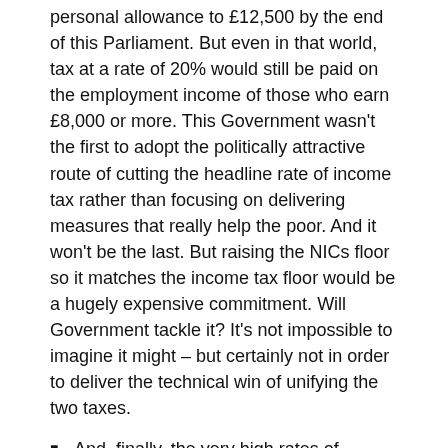personal allowance to £12,500 by the end of this Parliament. But even in that world, tax at a rate of 20% would still be paid on the employment income of those who earn £8,000 or more. This Government wasn't the first to adopt the politically attractive route of cutting the headline rate of income tax rather than focusing on delivering measures that really help the poor. And it won't be the last. But raising the NICs floor so it matches the income tax floor would be a hugely expensive commitment. Will Government tackle it? It's not impossible to imagine it might – but certainly not in order to deliver the technical win of unifying the two taxes.
And, finally, the very high rates of income tax that we pay. People might be surprised to learn that employment income above £10,600 presently bears an